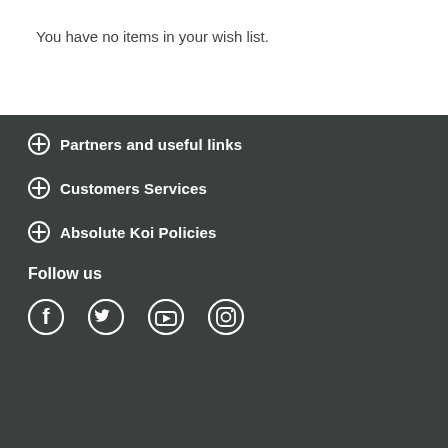You have no items in your wish list.
Partners and useful links
Customers Services
Absolute Koi Policies
Follow us
[Figure (illustration): Social media icons: Facebook, Twitter, YouTube, Instagram]